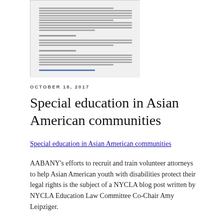[Figure (screenshot): Thumbnail screenshot of a document page with small text, bullet points, and a link at the bottom]
OCTOBER 18, 2017
Special education in Asian American communities
Special education in Asian American communities
AABANY's efforts to recruit and train volunteer attorneys to help Asian American youth with disabilities protect their legal rights is the subject of a NYCLA blog post written by NYCLA Education Law Committee Co-Chair Amy Leipziger.